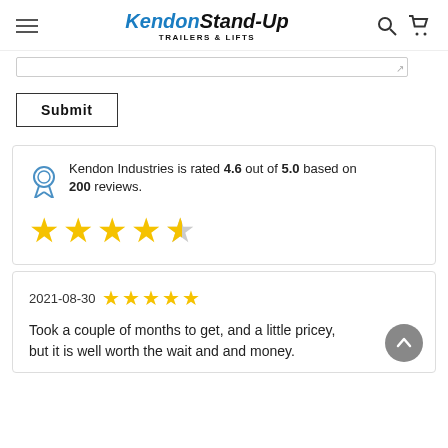Kendon Stand-Up Trailers & Lifts
Kendon Industries is rated 4.6 out of 5.0 based on 200 reviews.
★★★★½
2021-08-30 ★★★★★
Took a couple of months to get, and a little pricey, but it is well worth the wait and and money.